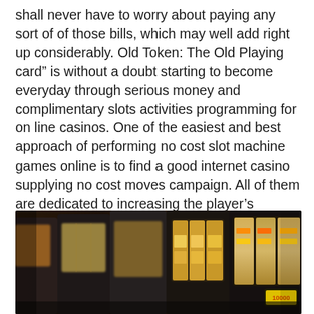shall never have to worry about paying any sort of of those bills, which may well add right up considerably. Old Token: The Old Playing card" is without a doubt starting to become everyday through serious money and complimentary slots activities programming for on line casinos. One of the easiest and best approach of performing no cost slot machine games online is to find a good internet casino supplying no cost moves campaign. All of them are dedicated to increasing the player's likelihood of being victorious in much larger gifts, either learning 100 % free casino wars or maybe great income game titles. It is pretty easy to have, you twist the spots and put it off for the production if you get the same production on all two destinations you profit as well as you twist all over again, easy and simple.
[Figure (photo): Photo of casino slot machines in a dimly lit environment, showing the illuminated screens and reels of multiple slot machines in a row.]